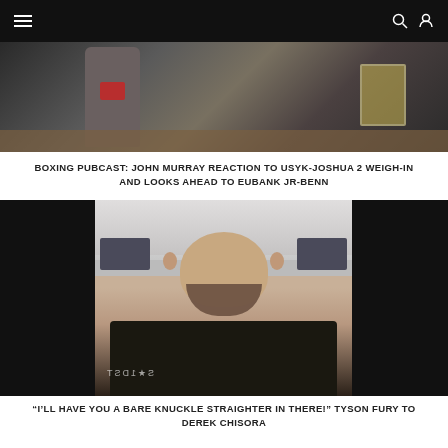Navigation bar with hamburger menu, search, and user icons
[Figure (photo): Partially visible boxing pub cast image showing a person in grey hoodie and a beer mug on a table]
BOXING PUBCAST: JOHN MURRAY REACTION TO USYK-JOSHUA 2 WEIGH-IN AND LOOKS AHEAD TO EUBANK JR-BENN
[Figure (photo): Tyson Fury, bald with beard, wearing a black t-shirt, speaking in what appears to be an office or training facility. Black bars on left and right sides of the video.]
“I’LL HAVE YOU A BARE KNUCKLE STRAIGHTER IN THERE!” TYSON FURY TO DEREK CHISORA